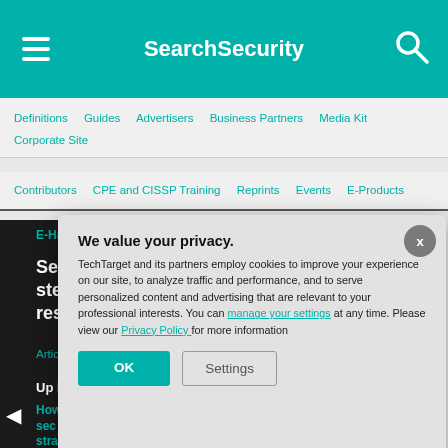SearchSecurity
Definitions   Guides   Advertisers   Business Partners   Media Kit   Corporate Site
Contributors   CPE and CISSP Training   Reprints   Events   E-Products
We value your privacy.
TechTarget and its partners employ cookies to improve your experience on our site, to analyze traffic and performance, and to serve personalized content and advertising that are relevant to your professional interests. You can manage your settings at any time. Please view our Privacy Policy for more information
OK   Settings